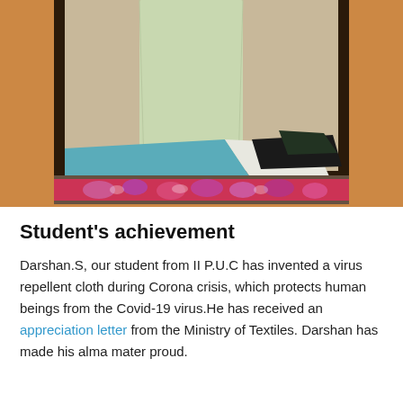[Figure (photo): A photo showing fabric cloth/textile materials laid out on a floral-patterned mat against a dark door frame with an orange wall background. A light green cloth hangs vertically, and teal/blue fabric pieces along with a black piece of material are spread on the mat.]
Student's achievement
Darshan.S, our student from II P.U.C has invented a virus repellent cloth during Corona crisis, which protects human beings from the Covid-19 virus.He has received an appreciation letter from the Ministry of Textiles. Darshan has made his alma mater proud.